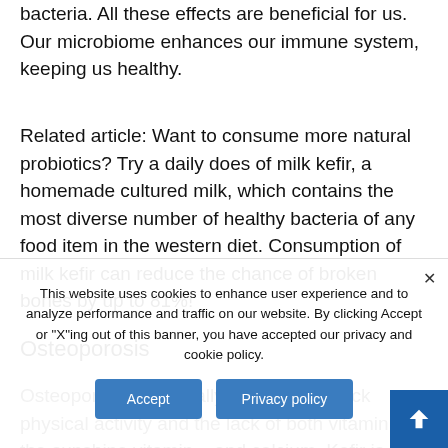bacteria. All these effects are beneficial for us. Our microbiome enhances our immune system, keeping us healthy.
Related article: Want to consume more natural probiotics? Try a daily does of milk kefir, a homemade cultured milk, which contains the most diverse number of healthy bacteria of any food item in the western diet. Consumption of milk kefir can reduce the chance of broken bones by up to 81%!
Osteoporosis
Osteoporosis is typically caused by a lack physical activity and the lack of both vitamin D – the sunshine vitamin – and calcium. Kefir is a superfood that can assist you in increasing vitamin D in your body. Milk and milk products are still the highest sources of dietary calcium. Milk kefir, due to its fermentation process
This website uses cookies to enhance user experience and to analyze performance and traffic on our website. By clicking Accept or "X"ing out of this banner, you have accepted our privacy and cookie policy.